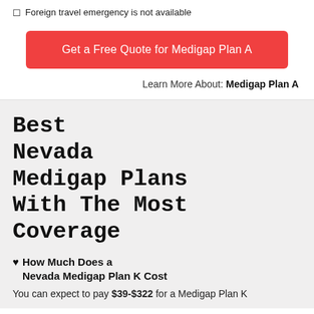Foreign travel emergency is not available
Get a Free Quote for Medigap Plan A
Learn More About: Medigap Plan A
Best Nevada Medigap Plans With The Most Coverage
How Much Does a Nevada Medigap Plan K Cost
You can expect to pay $39-$322 for a Medigap Plan K